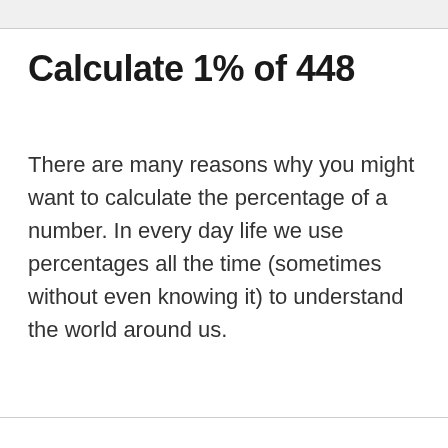Calculate 1% of 448
There are many reasons why you might want to calculate the percentage of a number. In every day life we use percentages all the time (sometimes without even knowing it) to understand the world around us.